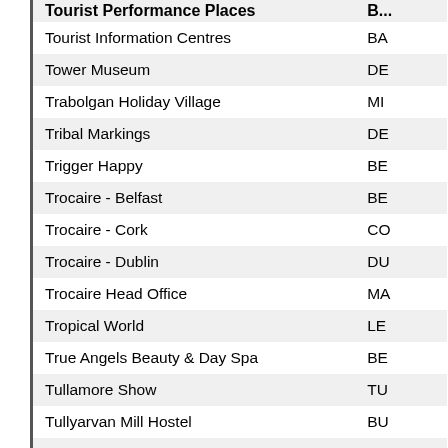| Name | Code |
| --- | --- |
| Tourist Performance Places | B... |
| Tourist Information Centres | BA |
| Tower Museum | DE |
| Trabolgan Holiday Village | MI |
| Tribal Markings | DE |
| Trigger Happy | BE |
| Trocaire - Belfast | BE |
| Trocaire - Cork | CO |
| Trocaire - Dublin | DU |
| Trocaire Head Office | MA |
| Tropical World | LE |
| True Angels Beauty & Day Spa | BE |
| Tullamore Show | TU |
| Tullyarvan Mill Hostel | BU |
| Tumble Circus - Winter Circus | BE |
| Twilight Zone | NE |
| Twisted Rose Tattoo | BA |
| Type One Fitness | AN |
| UberSkin |  |